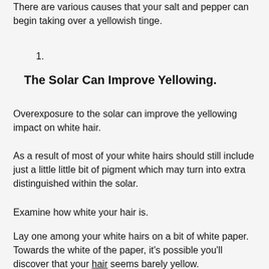There are various causes that your salt and pepper can begin taking over a yellowish tinge.
1.
The Solar Can Improve Yellowing.
Overexposure to the solar can improve the yellowing impact on white hair.
As a result of most of your white hairs should still include just a little little bit of pigment which may turn into extra distinguished within the solar.
Examine how white your hair is.
Lay one among your white hairs on a bit of white paper. Towards the white of the paper, it's possible you'll discover that your hair seems barely yellow.